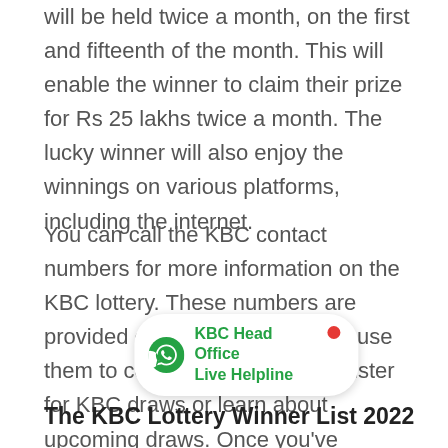will be held twice a month, on the first and fifteenth of the month. This will enable the winner to claim their prize for Rs 25 lakhs twice a month. The lucky winner will also enjoy the winnings on various platforms, including the internet.
You can call the KBC contact numbers for more information on the KBC lottery. These numbers are provided city-wise, and you can use them to contact an officer to register for KBC draws or learn about upcoming draws. Once you've registered for a KBC lottery ticket, it's easy to stay updated on the latest results.
[Figure (other): WhatsApp badge showing KBC Head Office Live Helpline with green WhatsApp icon and red online indicator dot]
The KBC Lottery Winner List 2022